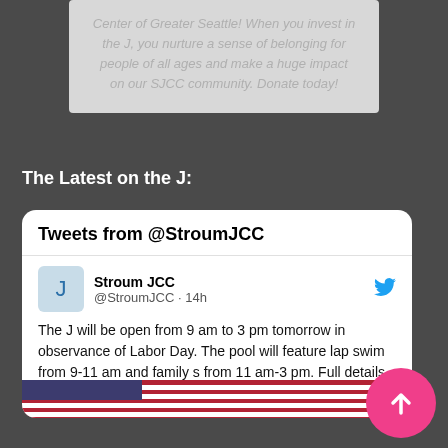Center of Greater Seattle! When you invest in the J, you nurture a sense of belonging for people of all ages and make a huge impact on our SJCC community. Donate today!
The Latest on the J:
[Figure (screenshot): Twitter widget showing tweets from @StroumJCC. Includes tweet from Stroum JCC (@StroumJCC · 14h): 'The J will be open from 9 am to 3 pm tomorrow in observance of Labor Day. The pool will feature lap swim from 9-11 am and family s... from 11 am-3 pm. Full details >> bit.ly/3zdKDcR #StroumJCC #LaborDay'. Partial image of American flag visible at bottom.]